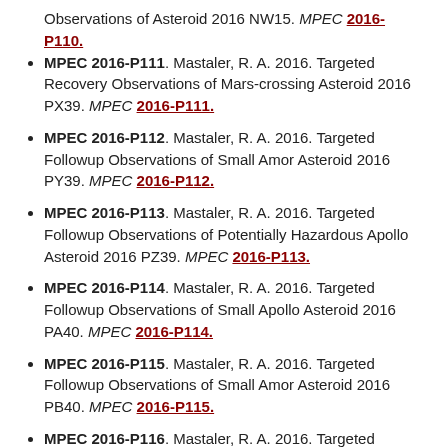Observations of Asteroid 2016 NW15. MPEC 2016-P110.
MPEC 2016-P111. Mastaler, R. A. 2016. Targeted Recovery Observations of Mars-crossing Asteroid 2016 PX39. MPEC 2016-P111.
MPEC 2016-P112. Mastaler, R. A. 2016. Targeted Followup Observations of Small Amor Asteroid 2016 PY39. MPEC 2016-P112.
MPEC 2016-P113. Mastaler, R. A. 2016. Targeted Followup Observations of Potentially Hazardous Apollo Asteroid 2016 PZ39. MPEC 2016-P113.
MPEC 2016-P114. Mastaler, R. A. 2016. Targeted Followup Observations of Small Apollo Asteroid 2016 PA40. MPEC 2016-P114.
MPEC 2016-P115. Mastaler, R. A. 2016. Targeted Followup Observations of Small Amor Asteroid 2016 PB40. MPEC 2016-P115.
MPEC 2016-P116. Mastaler, R. A. 2016. Targeted Followup Observations of Small Amor Asteroid 2016